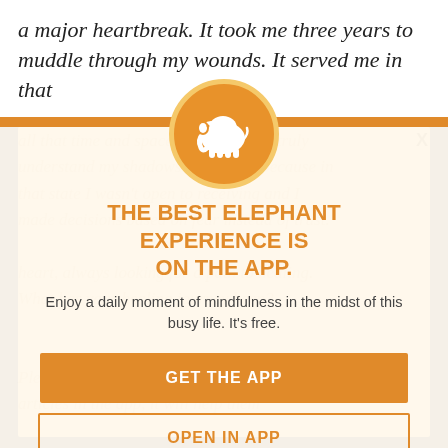a major heartbreak. It took me three years to muddle through my wounds. It served me in that
all that time and space allowed me to truly understand my shadows. It hurt me because in that state I wasn't open to receiving and I made decisions based on fear instead of trust. heart, always looking for a path to healing. What has your healing journey been?
THE BEST ELEPHANT EXPERIENCE IS ON THE APP.
Enjoy a daily moment of mindfulness in the midst of this busy life. It's free.
GET THE APP
OPEN IN APP